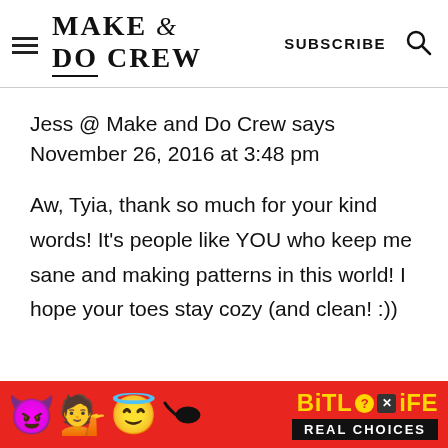MAKE & DO CREW — SUBSCRIBE
Jess @ Make and Do Crew says
November 26, 2016 at 3:48 pm
Aw, Tyia, thank so much for your kind words! It's people like YOU who keep me sane and making patterns in this world! I hope your toes stay cozy (and clean! :))
[Figure (screenshot): Advertisement banner for BitLife - Real Choices app, red background with emojis (devil, woman raising hands, angel emoji) and BitLife logo in yellow text, Real Choices in white on black banner]